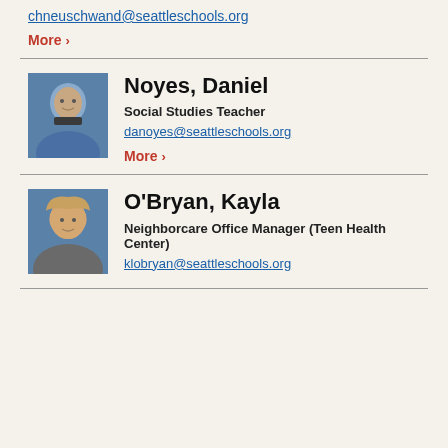chneusch wand@seattleschools.org
More ›
Noyes, Daniel
Social Studies Teacher
danoyes@seattleschools.org
More ›
O'Bryan, Kayla
Neighborcare Office Manager (Teen Health Center)
klobryan@seattleschools.org